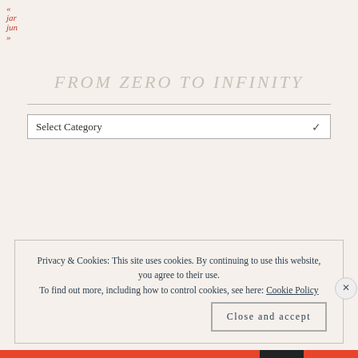« jar jun »
FROM ZERO TO INFINITY
[Figure (screenshot): Select Category dropdown with chevron arrow]
Privacy & Cookies: This site uses cookies. By continuing to use this website, you agree to their use.
To find out more, including how to control cookies, see here: Cookie Policy
Close and accept